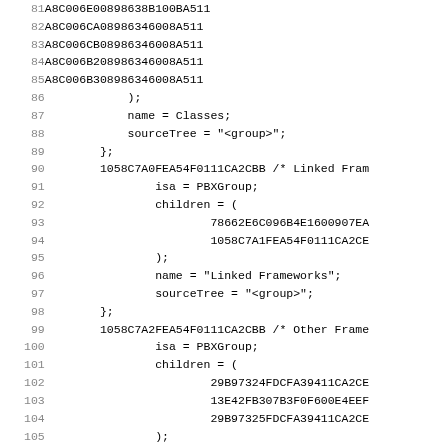Code listing lines 81-113 showing Xcode project file (PBX format) with group definitions for Classes, Linked Frameworks, Other Frameworks, and Products sections.